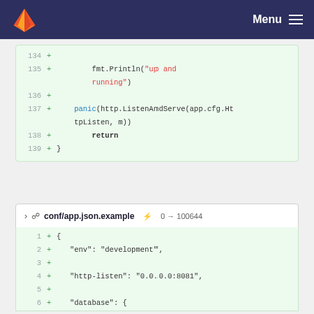GitLab — Menu
[Figure (screenshot): Code diff view showing Go source lines 134-139 with green added line background. Line 135 shows fmt.Println with red string 'up and running', line 137 shows panic(http.ListenAndServe(app.cfg.HttpListen, m)), line 138 shows return in bold, line 139 shows closing brace.]
conf/app.json.example  0 → 100644
[Figure (screenshot): Code diff view showing JSON file lines 1-8 with green added line background. Line 1: {, Line 2: "env": "development",, Line 3: empty, Line 4: "http-listen": "0.0.0.0:8081",, Line 5: empty, Line 6: "database": {, Line 7: "dialect": "sqlite3",, Line 8: "args": "conf/database.db"]